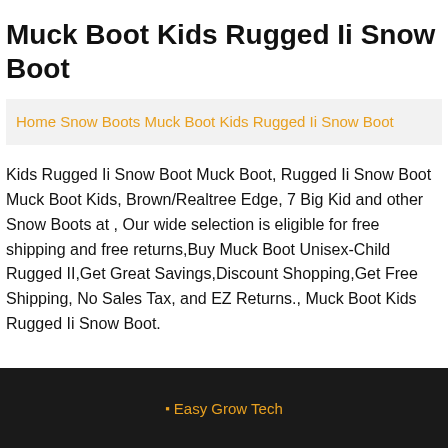Muck Boot Kids Rugged Ii Snow Boot
Home Snow Boots Muck Boot Kids Rugged Ii Snow Boot
Kids Rugged Ii Snow Boot Muck Boot, Rugged Ii Snow Boot Muck Boot Kids, Brown/Realtree Edge, 7 Big Kid and other Snow Boots at , Our wide selection is eligible for free shipping and free returns,Buy Muck Boot Unisex-Child Rugged II,Get Great Savings,Discount Shopping,Get Free Shipping, No Sales Tax, and EZ Returns., Muck Boot Kids Rugged Ii Snow Boot.
Easy Grow Tech